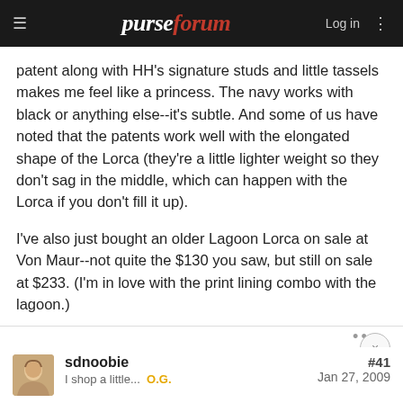purseforum | Log in
patent along with HH's signature studs and little tassels makes me feel like a princess. The navy works with black or anything else--it's subtle. And some of us have noted that the patents work well with the elongated shape of the Lorca (they're a little lighter weight so they don't sag in the middle, which can happen with the Lorca if you don't fill it up).

I've also just bought an older Lagoon Lorca on sale at Von Maur--not quite the $130 you saw, but still on sale at $233. (I'm in love with the print lining combo with the lagoon.)
sdnoobie
I shop a little...  O.G.
#41
Jan 27, 2009